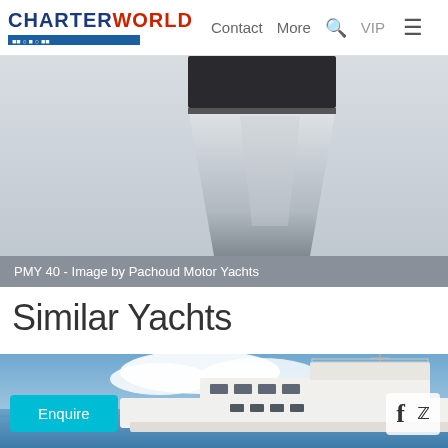CHARTER WORLD — Contact More VIP
[Figure (photo): Bow of a motor yacht (PMY 40) photographed from below against a light background, partially cropped at top]
PMY 40 - Image by Pachoud Motor Yachts
Similar Yachts
[Figure (photo): A large white motor yacht cruising on blue ocean water with a blue sky and white clouds in the background. The yacht has multiple decks, a flybridge, and radar/communication equipment. An 'Enquire' button in teal and social media icons (Facebook, Twitter) are overlaid at the bottom.]